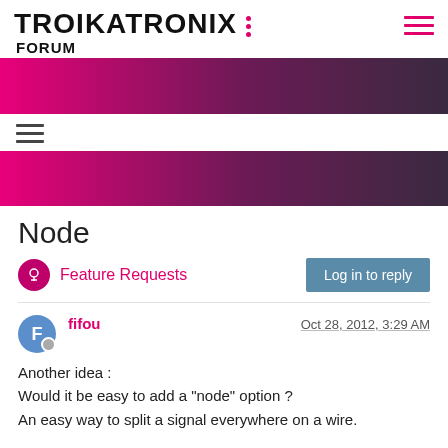TROIKATRONIX FORUM
[Figure (other): Gradient banner bar magenta to dark purple]
[Figure (other): Hamburger menu icon (three dark lines)]
[Figure (other): Gradient banner bar magenta to dark purple]
Node
Feature Requests
Log in to reply
fifou Oct 28, 2012, 3:29 AM
Another idea :
Would it be easy to add a "node" option ?
An easy way to split a signal everywhere on a wire.

Philippe